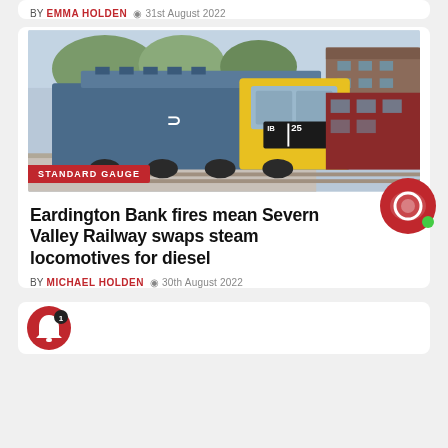BY EMMA HOLDEN  31st August 2022
[Figure (photo): A blue and yellow diesel locomotive with headboard reading 'IB 25' at a railway station platform, with a maroon heritage coach alongside. Label 'STANDARD GAUGE' overlaid at bottom left.]
Eardington Bank fires mean Severn Valley Railway swaps steam locomotives for diesel
BY MICHAEL HOLDEN  30th August 2022